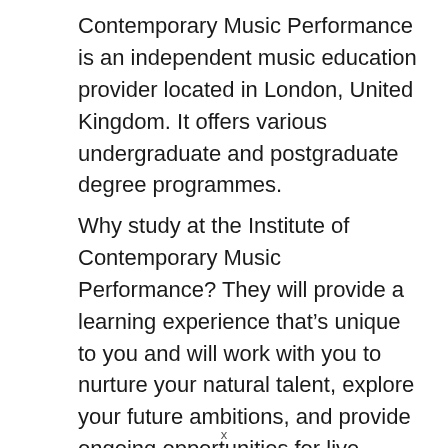Contemporary Music Performance is an independent music education provider located in London, United Kingdom. It offers various undergraduate and postgraduate degree programmes.
Why study at the Institute of Contemporary Music Performance? They will provide a learning experience that's unique to you and will work with you to nurture your natural talent, explore your future ambitions, and provide ongoing opportunities for live performances, auditioning, songwriting,
x